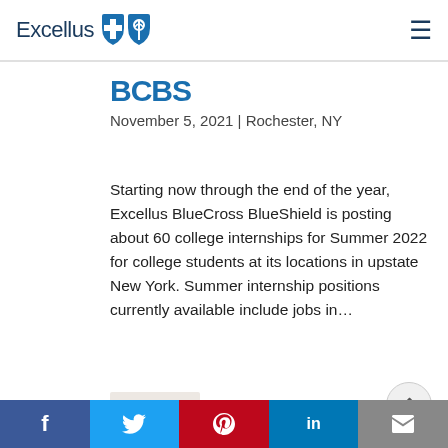Excellus BlueCross BlueShield
BCBS
November 5, 2021 | Rochester, NY
Starting now through the end of the year, Excellus BlueCross BlueShield is posting about 60 college internships for Summer 2022 for college students at its locations in upstate New York. Summer internship positions currently available include jobs in…
Corporate